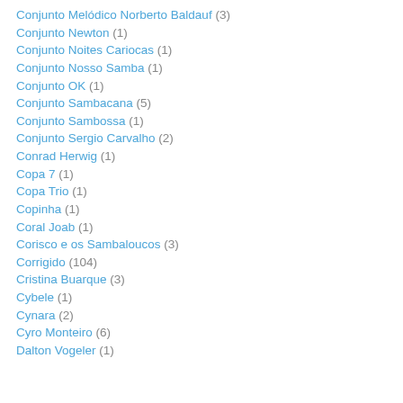Conjunto Melódico Norberto Baldauf (3)
Conjunto Newton (1)
Conjunto Noites Cariocas (1)
Conjunto Nosso Samba (1)
Conjunto OK (1)
Conjunto Sambacana (5)
Conjunto Sambossa (1)
Conjunto Sergio Carvalho (2)
Conrad Herwig (1)
Copa 7 (1)
Copa Trio (1)
Copinha (1)
Coral Joab (1)
Corisco e os Sambaloucos (3)
Corrigido (104)
Cristina Buarque (3)
Cybele (1)
Cynara (2)
Cyro Monteiro (6)
Dalton Vogeler (1)